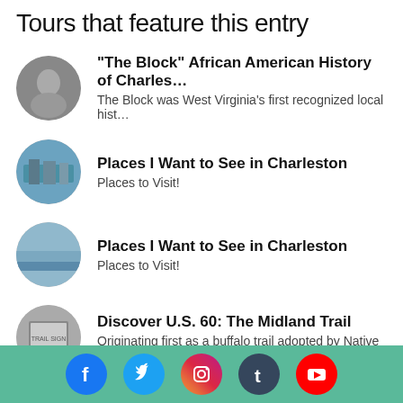Tours that feature this entry
"The Block" African American History of Charles… — The Block was West Virginia's first recognized local hist…
Places I Want to See in Charleston — Places to Visit!
Places I Want to See in Charleston — Places to Visit!
Discover U.S. 60: The Midland Trail — Originating first as a buffalo trail adopted by Native A…
Social media icons: Facebook, Twitter, Instagram, Tumblr, YouTube